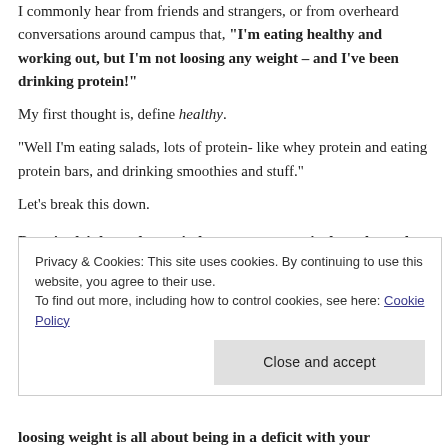I commonly hear from friends and strangers, or from overheard conversations around campus that, “I’m eating healthy and working out, but I’m not loosing any weight – and I’ve been drinking protein!”
My first thought is, define healthy.
“Well I’m eating salads, lots of protein- like whey protein and eating protein bars, and drinking smoothies and stuff.”
Let’s break this down.
Protein drinks and protein bars are not magical products that are going to instantly make you lose a
Privacy & Cookies: This site uses cookies. By continuing to use this website, you agree to their use.
To find out more, including how to control cookies, see here: Cookie Policy
loosing weight is all about being in a deficit with your